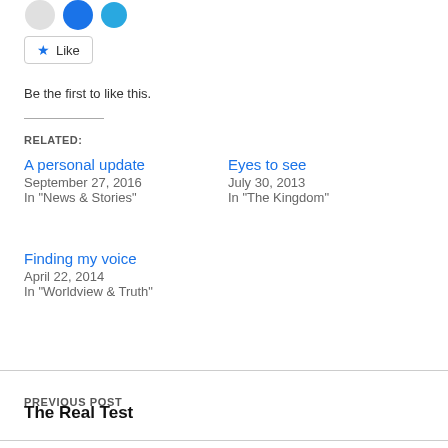[Figure (screenshot): Three social share avatar/icon circles partially visible at top]
Like
Be the first to like this.
RELATED:
A personal update
September 27, 2016
In "News & Stories"
Eyes to see
July 30, 2013
In "The Kingdom"
Finding my voice
April 22, 2014
In "Worldview & Truth"
PREVIOUS POST
The Real Test